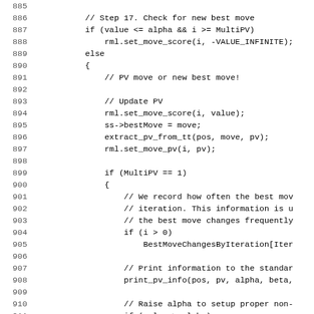[Figure (screenshot): Source code listing in monospace font showing lines 885-917 of a C++ chess engine search function. Lines include comments and code for checking new best moves, updating PV (principal variation), handling MultiPV modes, and printing PV info.]